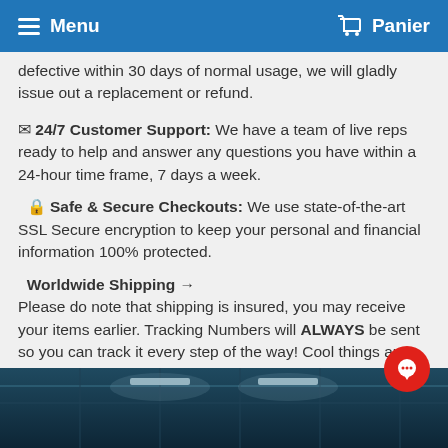Menu   Panier
defective within 30 days of normal usage, we will gladly issue out a replacement or refund.
✉ 24/7 Customer Support: We have a team of live reps ready to help and answer any questions you have within a 24-hour time frame, 7 days a week.
🔒 Safe & Secure Checkouts: We use state-of-the-art SSL Secure encryption to keep your personal and financial information 100% protected.
✈ Worldwide Shipping →
Please do note that shipping is insured, you may receive your items earlier. Tracking Numbers will ALWAYS be sent so you can track it every step of the way! Cool things are worth waiting for! ☺
[Figure (photo): Warehouse interior with industrial ceiling and lights, dark teal/blue tones]